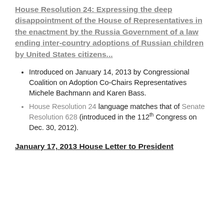House Resolution 24: Expressing the deep disappointment of the House of Representatives in the enactment by the Russia Government of a law ending inter-country adoptions of Russian children by United States citizens...
Introduced on January 14, 2013 by Congressional Coalition on Adoption Co-Chairs Representatives Michele Bachmann and Karen Bass.
House Resolution 24 language matches that of Senate Resolution 628 (introduced in the 112th Congress on Dec. 30, 2012).
January 17, 2013 House Letter to President